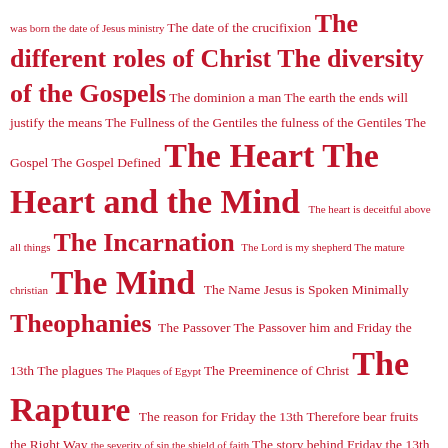was born the date of Jesus ministry The date of the crucifixion The different roles of Christ The diversity of the Gospels The dominion a man The earth the ends will justify the means The Fullness of the Gentiles the fulness of the Gentiles The Gospel The Gospel Defined The Heart The Heart and the Mind The heart is deceitful above all things The Incarnation The Lord is my shepherd The mature christian The Mind The Name Jesus is Spoken Minimally Theophanies The Passover The Passover him and Friday the 13th The plagues The Plaques of Egypt The Preeminence of Christ The Rapture The reason for Friday the 13th Therefore bear fruits the Right Way the severity of sin the shield of faith The story behind Friday the 13th The Thief on the Cross The Time of the Gentiles The Tribulation The Tribulation defined The Trilemma The Vineyard the volume of the book The whole armor of God Thick Darkness Thinking Thinking vs. Emotions thoughts Thy Heart was Lifted Up Thy kingdom come Thy shoes shall be iron and brass time of the end Titles of God Titus 3:5 to and fro To Forgive Someone To Forgive Someone must they repent tolerance means compromise Total Depravity of man Transfiguration Translation Transliteration Tribulation Trials